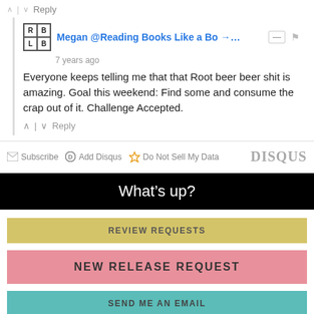^ | v Reply
Megan @Reading Books Like a Bo →... 7 years ago
Everyone keeps telling me that that Root beer beer shit is amazing. Goal this weekend: Find some and consume the crap out of it. Challenge Accepted.
^ | v Reply
Subscribe  Add Disqus  Do Not Sell My Data  DISQUS
What's up?
REVIEW REQUESTS
NEW RELEASE REQUEST
SEND ME AN EMAIL